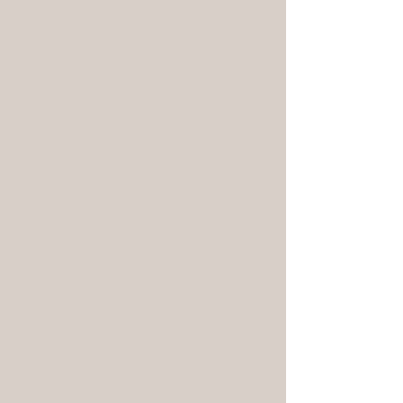[Figure (photo): Audio-Technica AT-MONO3/SP phono cartridge product photo on white/gray background]
□□□AT-MONO3/SP
▶ 詳細・ご購入ペ-
NAGAOKA □□□□
[Figure (photo): Nagaoka MP-11HNSP phono cartridge product photo on dark background]
□□□MP-11HNSP
詳細・ご購入